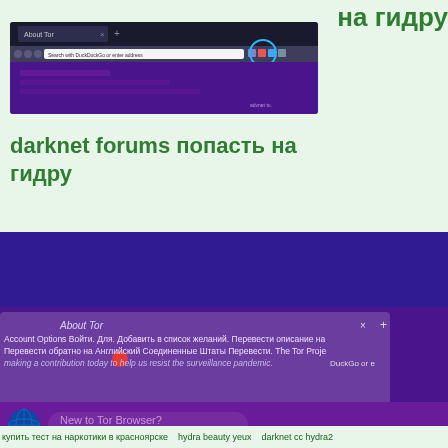на гидру
[Figure (screenshot): Screenshot of Tor Browser address bar with navigation elements and a circular highlight on the top-right icons]
darknet forums попасть на гидру
[Figure (screenshot): Screenshot of Tor Browser showing purple/dark interface with 'About Tor' dialog overlay and 'New to Tor Browser? Let's get started.' prompt at the bottom. Text includes: Account Options Войти. Для. Добавить в список желаний. Перевести описание на Перевести обратно на Английский Соединенные Штаты Перевести. The Tor Proje... making a contribution today to help us resist the surveillance pandemic.]
Account Options Войти. Для. Добавить в список желаний. Перевести описание на Перевести обратно на Английский Соединенные Штаты Перевести. The Tor Proje making a contribution today to help us resist the surveillance pandemic.
New to Tor Browser?
Let's get started.
купить тест на наркотики в красноярске   hydra beauty yeux   darknet cc hydra2